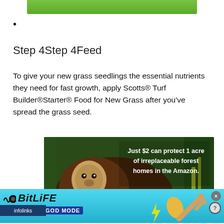[Figure (photo): Partial top image showing green background, cropped at top of page]
•
Step 4Step 4Feed
To give your new grass seedlings the essential nutrients they need for fast growth, apply Scotts® Turf Builder®Starter® Food for New Grass after you've spread the grass seed.
[Figure (photo): Advertisement photo of monkeys (capuchin) in the Amazon rainforest with text overlay: 'Just $2 can protect 1 acre of irreplaceable forest homes in the Amazon.']
[Figure (screenshot): BitLife game advertisement with blue background, logo, and 'NOW WITH GOD MODE' text, infolinks label, and hand/pointing finger illustration]